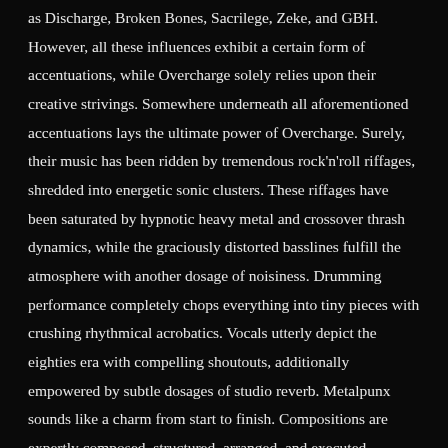as Discharge, Broken Bones, Sacrilege, Zeke, and GBH. However, all these influences exhibit a certain form of accentuations, while Overcharge solely relies upon their creative strivings. Somewhere underneath all aforementioned accentuations lays the ultimate power of Overcharge. Surely, their music has been ridden by tremendous rock'n'roll riffages, shredded into energetic sonic clusters. These riffages have been saturated by hypnotic heavy metal and crossover thrash dynamics, while the graciously distorted basslines fulfill the atmosphere with another dosage of noisiness. Drumming performance completely chops everything into tiny pieces with crushing rhythmical acrobatics. Vocals utterly depict the eighties era with compelling shoutouts, additionally empowered by subtle dosages of studio reverb. Metalpunx sounds like a charm from start to finish. Compositions are expertly composed, structured, arranged, and executed according to some fundamental standards of the genre. The entire concept would flawlessly fit the post-apocalyptic imagery of the Mad Max franchise because of the topics embraced through the lyrics. To be more precise, Overcharge